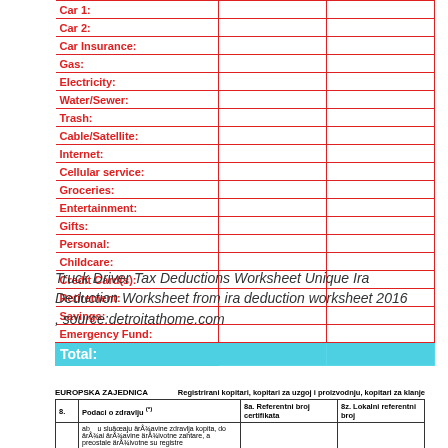|  | Column 1 | Column 2 |
| --- | --- | --- |
| Car 1: |  |  |
| Car 2: |  |  |
| Car Insurance: |  |  |
| Gas: |  |  |
| Electricity: |  |  |
| Water/Sewer: |  |  |
| Trash: |  |  |
| Cable/Satellite: |  |  |
| Internet: |  |  |
| Cellular service: |  |  |
| Groceries: |  |  |
| Entertainment: |  |  |
| Gifts: |  |  |
| Personal: |  |  |
| Childcare: |  |  |
| Credit Card(s): |  |  |
| Retirement: |  |  |
| Savings: |  |  |
| Emergency Fund: |  |  |
| Total: |  |  |
Truck Driver Tax Deductions Worksheet Unique Ira Deduction Worksheet from ira deduction worksheet 2016 , source:detroitathome.com
| 8. | Podaci o zdravlju (*) | 8a. Referentni broj certifikata | 8z. Lokalni referentni broj |
| --- | --- | --- | --- |
|  | ab | u sluäœaju ärÅ¾avine zdravlja kopita, do ärÅ¾ai ärÅ¾avine ärÅ¾ivotne zahtare, a preostale ärÅ¾ivotne su registre |  |  |